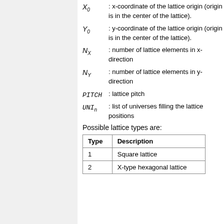X_0 : x-coordinate of the lattice origin (origin is in the center of the lattice).
Y_0 : y-coordinate of the lattice origin (origin is in the center of the lattice).
N_X : number of lattice elements in x-direction
N_Y : number of lattice elements in y-direction
PITCH : lattice pitch
UNI_n : list of universes filling the lattice positions
Possible lattice types are:
| Type | Description |
| --- | --- |
| 1 | Square lattice |
| 2 | X-type hexagonal lattice |